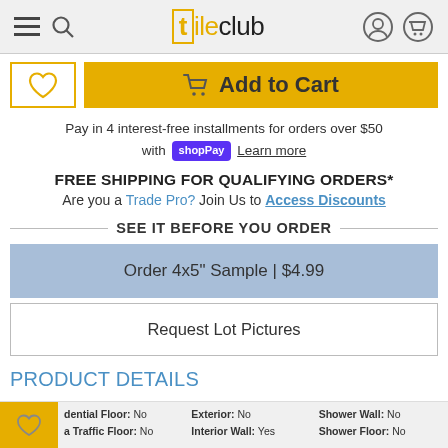tileclub — navigation header with hamburger menu, search, logo, account and cart icons
Add to Cart (button with wishlist heart button)
Pay in 4 interest-free installments for orders over $50 with shop Pay Learn more
FREE SHIPPING FOR QUALIFYING ORDERS*
Are you a Trade Pro? Join Us to Access Discounts
SEE IT BEFORE YOU ORDER
Order 4x5" Sample | $4.99
Request Lot Pictures
PRODUCT DETAILS
dential Floor: No
a Traffic Floor: No
Exterior: No
Interior Wall: Yes
Shower Wall: No
Shower Floor: No